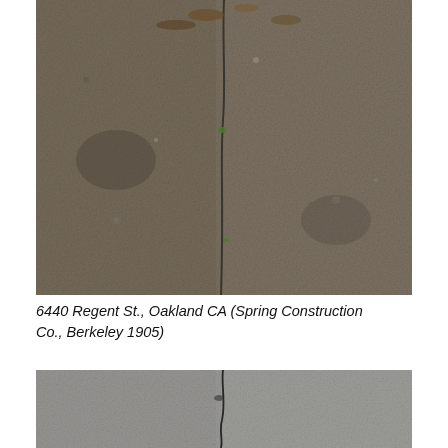[Figure (photo): Close-up photograph of a concrete or stone sidewalk surface showing a vertical crack running through the middle, with debris and small weeds visible at the top.]
6440 Regent St., Oakland CA (Spring Construction Co., Berkeley 1905)
[Figure (photo): Close-up photograph of a concrete sidewalk panel showing a crack running vertically through the center of the gray concrete surface.]